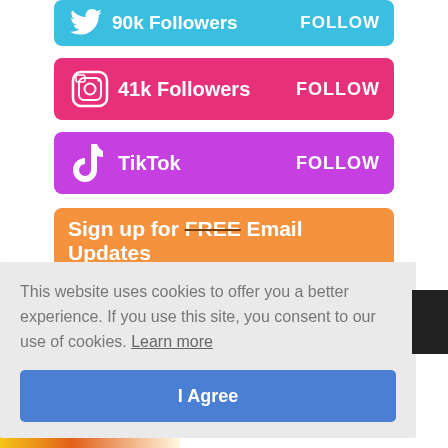[Figure (infographic): Twitter social follow button: cyan/blue bar with Twitter bird icon, '90k Followers' text and 'FOLLOW' label]
[Figure (infographic): Instagram social follow button: pink bar with Instagram camera icon, '41k Followers' text and 'FOLLOW' label]
[Figure (infographic): TikTok social follow button: purple/magenta bar with TikTok logo, 'TikTok' text and 'FOLLOW' label]
[Figure (infographic): Orange button: 'Sign up for FREE Email Updates' with FREE in strikethrough style]
This website uses cookies to offer you a better experience. If you use this site, you consent to our use of cookies. Learn more
I Agree